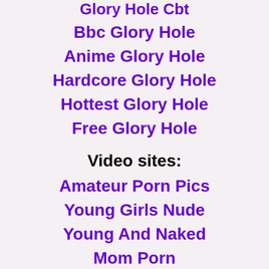Glory Hole Cbt
Bbc Glory Hole
Anime Glory Hole
Hardcore Glory Hole
Hottest Glory Hole
Free Glory Hole
Video sites:
Amateur Porn Pics
Young Girls Nude
Young And Naked
Mom Porn
Ebony Girls Naked
Gay Pics